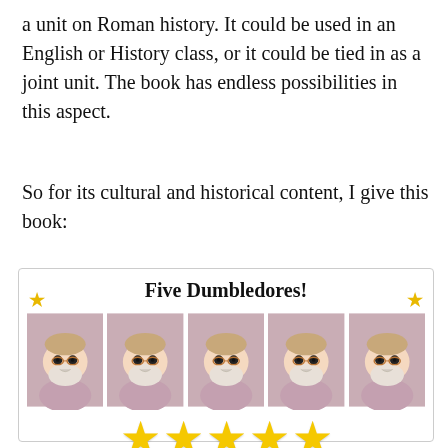a unit on Roman history. It could be used in an English or History class, or it could be tied in as a joint unit. The book has endless possibilities in this aspect.
So for its cultural and historical content, I give this book:
[Figure (illustration): A rating box with 'Five Dumbledores!' title, decorated with small gold stars on each side. Five Dumbledore Funko Pop figurine images in a row, and five large gold stars below them.]